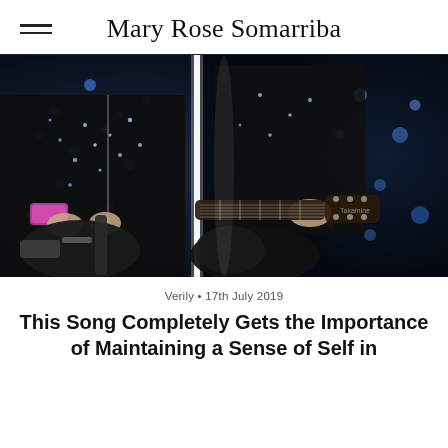Mary Rose Somarriba
[Figure (photo): Two musicians playing electric guitars on a dark concert stage with blue bokeh lighting and a vertical white light strip in the center. One performer wears a black outfit with sequined/sparkle details and a pink sequined bracelet.]
Verily • 17th July 2019
This Song Completely Gets the Importance of Maintaining a Sense of Self in